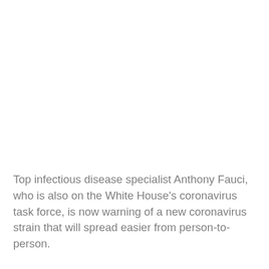Top infectious disease specialist Anthony Fauci, who is also on the White House's coronavirus task force, is now warning of a new coronavirus strain that will spread easier from person-to-person.